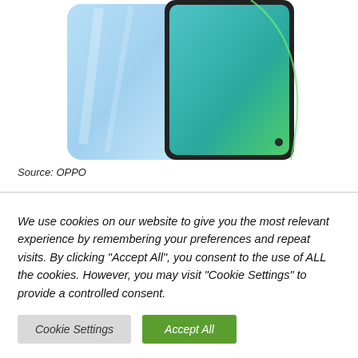[Figure (photo): Two OPPO smartphones displayed side by side — one showing the back with a light blue gradient, and one showing the front screen with a teal-to-green gradient. The front phone has a punch-hole camera in the bottom-right corner of the screen.]
Source: OPPO
We use cookies on our website to give you the most relevant experience by remembering your preferences and repeat visits. By clicking "Accept All", you consent to the use of ALL the cookies. However, you may visit "Cookie Settings" to provide a controlled consent.